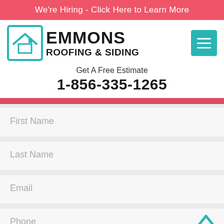We're Hiring - Click Here to Learn More
[Figure (logo): Emmons Roofing & Siding logo with teal house icon in a teal-bordered box and bold black text]
Get A Free Estimate
1-856-335-1265
First Name
Last Name
Email
Phone